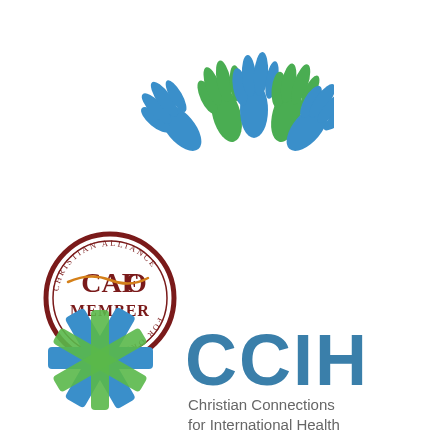[Figure (logo): Colorful handprints arranged in a semicircle — blue and green painted hands — part of a children/orphan-related organization logo at the top of the page.]
[Figure (logo): CAFO MEMBER circular seal logo. Dark red/maroon circular border with text 'CHRISTIAN ALLIANCE FOR ORPHANS' around the edge. Center text reads 'CAFO' in large serif font with 'MEMBER' below, and a small orange script flourish through the 'O' of CAFO.]
[Figure (logo): CCIH logo: left side shows a snowflake/asterisk symbol made of overlapping blue and green diagonal ribbon bands. Right side shows large 'CCIH' letters in teal/steel blue, with 'Christian Connections for International Health' in smaller grey text below.]